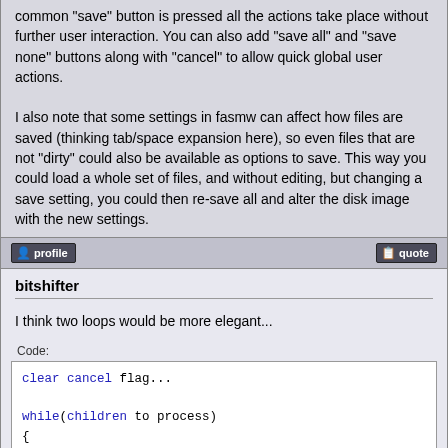common "save" button is pressed all the actions take place without further user interaction. You can also add "save all" and "save none" buttons along with "cancel" to allow quick global user actions.

I also note that some settings in fasmw can affect how files are saved (thinking tab/space expansion here), so even files that are not "dirty" could also be available as options to save. This way you could load a whole set of files, and without editing, but changing a save setting, you could then re-save all and alter the disk image with the new settings.
bitshifter
I think two loops would be more elegant...
Code:
clear cancel flag...

while(children to process)
{
    if(save was chosen)
    {
        save it...
    }
    else if(cancel was chosen)
    {
        set cancel flag and break out of loop...
    }